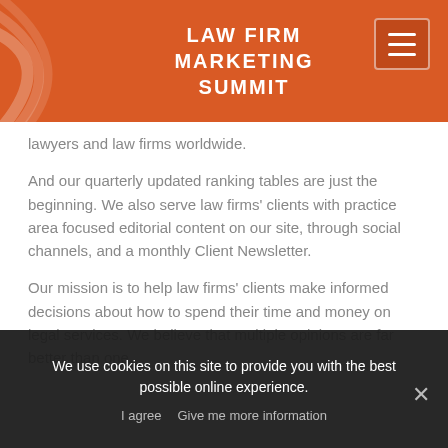LAW FIRM MARKETING SUMMIT
lawyers and law firms worldwide.
And our quarterly updated ranking tables are just the beginning. We also serve law firms' clients with practice area focused editorial content on our site, through social channels, and a monthly Client Newsletter.
Our mission is to help law firms' clients make informed decisions about how to spend their time and money on legal services. We believe that multiple opinions are far better than one.
We use cookies on this site to provide you with the best possible online experience.
I agree   Give me more information